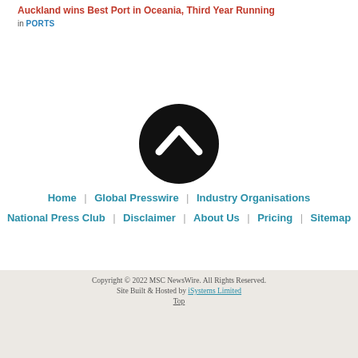Auckland wins Best Port in Oceania, Third Year Running
in PORTS
[Figure (illustration): Black circle button with white upward-pointing chevron arrow (scroll-to-top button)]
Home | Global Presswire | Industry Organisations
National Press Club | Disclaimer | About Us | Pricing | Sitemap
Copyright © 2022 MSC NewsWire. All Rights Reserved.
Site Built & Hosted by iSystems Limited
Top